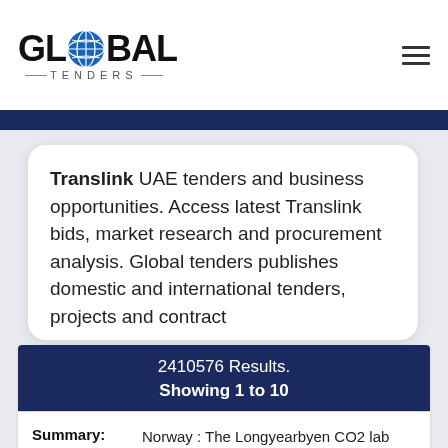Global Tenders logo and navigation
Translink UAE tenders and business opportunities. Access latest Translink bids, market research and procurement analysis. Global tenders publishes domestic and international tenders, projects and contract
2410576 Results.
Showing 1 to 10
| Field | Value |
| --- | --- |
| Summary: | Norway : The Longyearbyen CO2 lab Project |
| Sector: | Environment and Pollution |